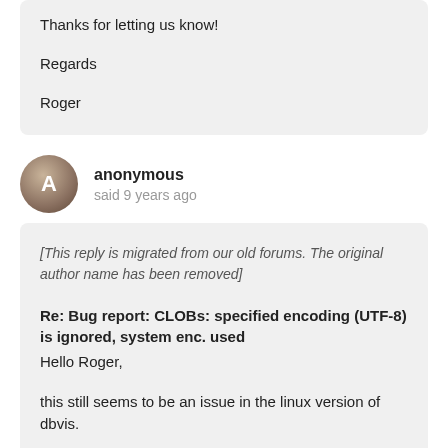Thanks for letting us know!
Regards
Roger
anonymous
said 9 years ago
[This reply is migrated from our old forums. The original author name has been removed]
Re: Bug report: CLOBs: specified encoding (UTF-8) is ignored, system enc. used
Hello Roger,
this still seems to be an issue in the linux version of dbvis.
I use this linux version: